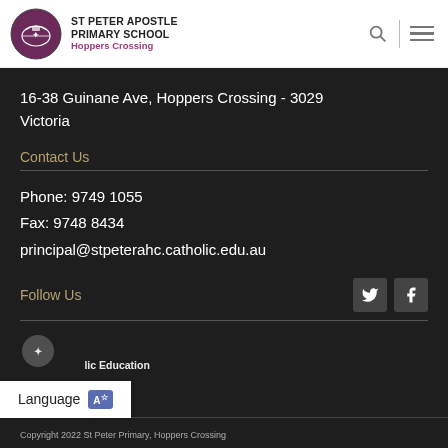[Figure (logo): St Peter Apostle Primary School logo with ship/knight emblem]
ST PETER APOSTLE PRIMARY SCHOOL Hoppers Crossing
16-38 Guinane Ave, Hoppers Crossing - 3029 Victoria
Contact Us
Phone: 9749 1055
Fax: 9748 8434
principal@stpeterahc.catholic.edu.au
Follow Us
[Figure (logo): Catholic Education Melbourne logo]
Language
Copyright 2022 St Peter Primary, Hoppers Crossing